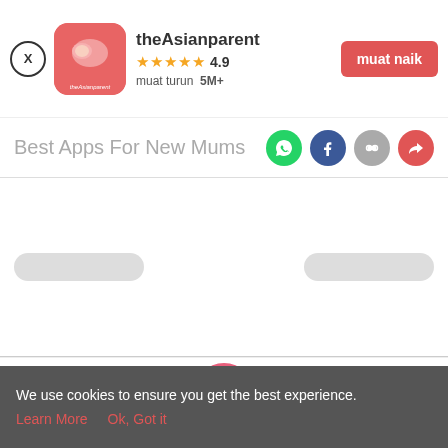[Figure (screenshot): App store header with theAsianparent app icon (red background with baby illustration), app name, 4.9 star rating, 5M+ downloads, and 'muat naik' upload button]
Best Apps For New Mums
[Figure (infographic): Social share icons: WhatsApp (green), Facebook (blue), chain-link (gray), share arrow (red)]
[Figure (screenshot): Content area with two gray placeholder pill shapes and a bottom navigation bar with Tools, Articles, center pink circle with pregnant woman icon, Feed, and Poll tabs]
We use cookies to ensure you get the best experience.
Learn More    Ok, Got it